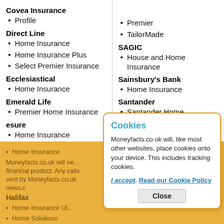Covea Insurance
Profile
Direct Line
Home Insurance
Home Insurance Plus
Select Premier Insurance
Ecclesiastical
Home Insurance
Emerald Life
Premier Home Insurance
esure
Home Insurance
first direct
Home Insurance
Halifax
Home Insurance Ultimate
Home Solutions
Hastings Direct
Hastings Direct
Premier
TailorMade
SAGIC
House and Home Insurance
Sainsbury's Bank
Home Insurance
Santander
Santander Home Insurance - Everyday
Santander Home Insurance - Premier
Cookies
Moneyfacts.co.uk will, like most other websites, place cookies onto your device. This includes tracking cookies.
I accept. Read our Cookie Policy
Moneyfacts.co.uk will ne... financial product. Any calls sent by Moneyfacts.co.uk news.c
Hastings Direct
Hastings Direct
Protect Plus